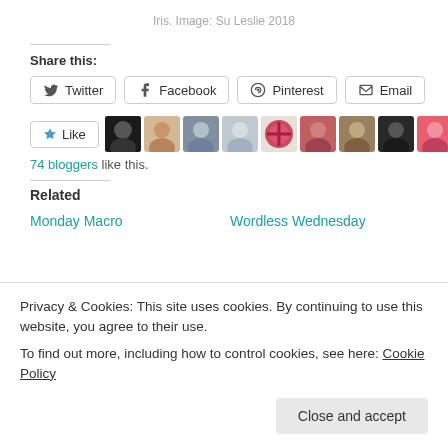Iris. Image: Su Leslie 2018
Share this:
Twitter  Facebook  Pinterest  Email
74 bloggers like this.
Related
Monday Macro    Wordless Wednesday
Privacy & Cookies: This site uses cookies. By continuing to use this website, you agree to their use.
To find out more, including how to control cookies, see here: Cookie Policy